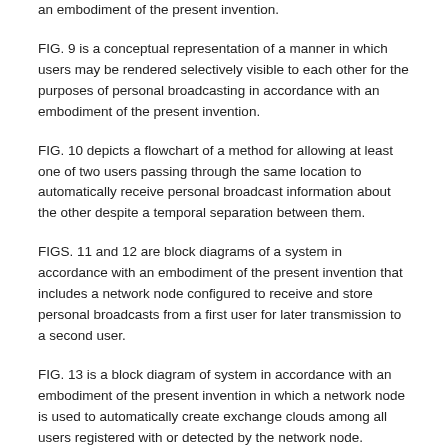an embodiment of the present invention.
FIG. 9 is a conceptual representation of a manner in which users may be rendered selectively visible to each other for the purposes of personal broadcasting in accordance with an embodiment of the present invention.
FIG. 10 depicts a flowchart of a method for allowing at least one of two users passing through the same location to automatically receive personal broadcast information about the other despite a temporal separation between them.
FIGS. 11 and 12 are block diagrams of a system in accordance with an embodiment of the present invention that includes a network node configured to receive and store personal broadcasts from a first user for later transmission to a second user.
FIG. 13 is a block diagram of system in accordance with an embodiment of the present invention in which a network node is used to automatically create exchange clouds among all users registered with or detected by the network node.
FIG. 14 depicts a flowchart of a method for asynchronously reporting information to a first user about other users that the first user encounters or comes into contact with.
FIG. 15 is a block diagram of an example computer system that may be